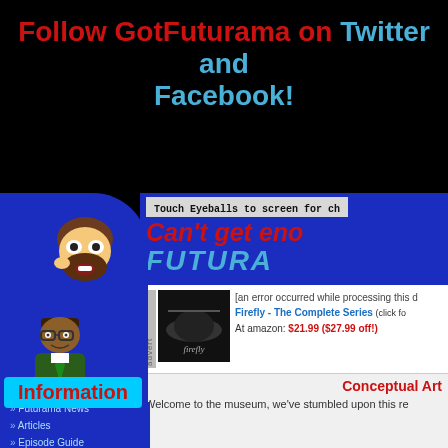Follow GotFuturama on Twitter and Facebook!
[Figure (illustration): GotFuturama website screenshot with blue Futurama-themed banner, character illustrations, navigation sidebar with Information button, and advertisement for Firefly - The Complete Series at $21.99 ($27.99 off!)]
Touch Eyeballs to screen for ch
Can't get eno
FUTURA
[an error occurred while processing this d
Firefly - The Complete Series (click fo
At amazon: $21.99 ($27.99 off!)
Information
Futurama News
Articles
Episode Guide
Conceptual Art
Welcome to the museum, we've stumbled upon this re